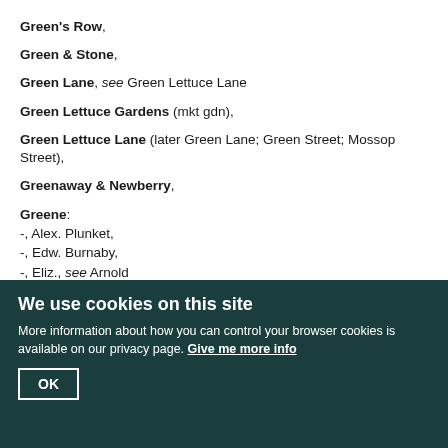Green's Row,
Green & Stone,
Green Lane, see Green Lettuce Lane
Green Lettuce Gardens (mkt gdn),
Green Lettuce Lane (later Green Lane; Green Street; Mossop Street),
Greenaway & Newberry,
Greene:
-, Alex. Plunket,
-, Edw. Burnaby,
-, Eliz., see Arnold
-, Frances, wid. of Thos,
-, John (d. c. 1683),
-, John, son of John,
-, Mary,
-, Mary Plunket, see Quant
-, Pitt Burnaby,
We use cookies on this site
More information about how you can control your browser cookies is available on our privacy page. Give me more info
OK